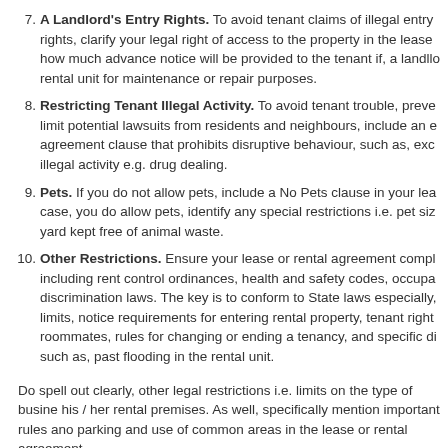7. A Landlord's Entry Rights. To avoid tenant claims of illegal entry rights, clarify your legal right of access to the property in the lease how much advance notice will be provided to the tenant if, a landlord rental unit for maintenance or repair purposes.
8. Restricting Tenant Illegal Activity. To avoid tenant trouble, prevent limit potential lawsuits from residents and neighbours, include an agreement clause that prohibits disruptive behaviour, such as, excl illegal activity e.g. drug dealing.
9. Pets. If you do not allow pets, include a No Pets clause in your lease case, you do allow pets, identify any special restrictions i.e. pet size yard kept free of animal waste.
10. Other Restrictions. Ensure your lease or rental agreement comply including rent control ordinances, health and safety codes, occupancy discrimination laws. The key is to conform to State laws especially, limits, notice requirements for entering rental property, tenant rights roommates, rules for changing or ending a tenancy, and specific discl such as, past flooding in the rental unit.
Do spell out clearly, other legal restrictions i.e. limits on the type of business his / her rental premises. As well, specifically mention important rules and parking and use of common areas in the lease or rental agreement.